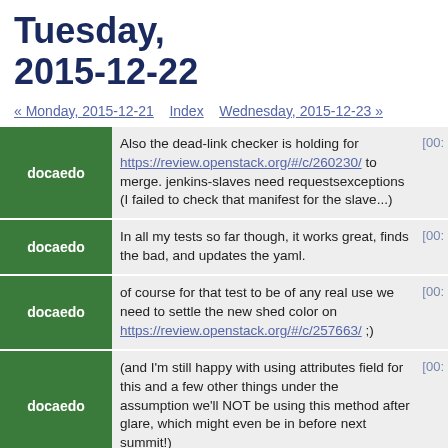Tuesday, 2015-12-22
« Monday, 2015-12-21   Index   Wednesday, 2015-12-23 »
| nick | message | time |
| --- | --- | --- |
| docaedo | Also the dead-link checker is holding for https://review.openstack.org/#/c/260230/ to merge. jenkins-slaves need requestsexceptions (I failed to check that manifest for the slave...) | [00: |
| docaedo | In all my tests so far though, it works great, finds the bad, and updates the yaml. | [00: |
| docaedo | of course for that test to be of any real use we need to settle the new shed color on https://review.openstack.org/#/c/257663/ ;) | [00: |
| docaedo | (and I'm still happy with using attributes field for this and a few other things under the assumption we'll NOT be using this method after glare, which might even be in before next summit!) | [00: |
*** kzaitsev_mb has quit IRC   [01